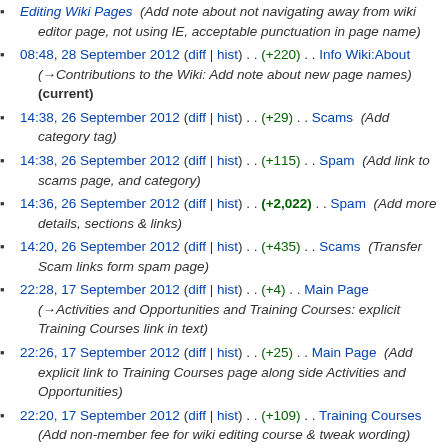Editing Wiki Pages (Add note about not navigating away from wiki editor page, not using IE, acceptable punctuation in page name)
08:48, 28 September 2012 (diff | hist) . . (+220) . . Info Wiki:About (→Contributions to the Wiki: Add note about new page names) (current)
14:38, 26 September 2012 (diff | hist) . . (+29) . . Scams (Add category tag)
14:38, 26 September 2012 (diff | hist) . . (+115) . . Spam (Add link to scams page, and category)
14:36, 26 September 2012 (diff | hist) . . (+2,022) . . Spam (Add more details, sections & links)
14:20, 26 September 2012 (diff | hist) . . (+435) . . Scams (Transfer Scam links form spam page)
22:28, 17 September 2012 (diff | hist) . . (+4) . . Main Page (→Activities and Opportunities and Training Courses: explicit Training Courses link in text)
22:26, 17 September 2012 (diff | hist) . . (+25) . . Main Page (Add explicit link to Training Courses page along side Activities and Opportunities)
22:20, 17 September 2012 (diff | hist) . . (+109) . . Training Courses (Add non-member fee for wiki editing course & tweak wording)
22:09, 5 September 2012 (diff | hist) . . (+10) . . Technical Info (Fix close rows and table)
15:57, 5 September 2012 (diff | hist) . . (+461) . . Training Courses (Update info on wiki editing course)
11:01, 4 September 2012 (diff | hist) . . (0) . . Newsletters (Fix format on Sept ASCCA newsletter)
09:18, 1 September 2012 (diff | hist) . . (-1,899) . . Activities and Opportunities (Replace page with leaner alternative, as drafted on Draft Page)